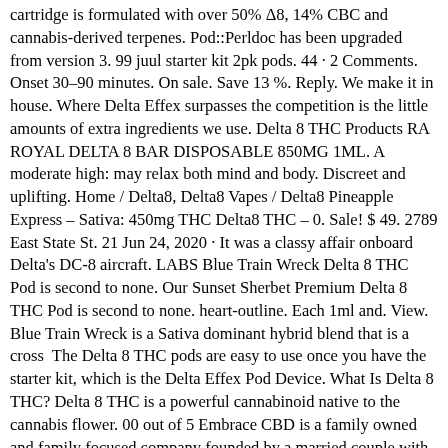cartridge is formulated with over 50% Δ8, 14% CBC and cannabis-derived terpenes. Pod::Perldoc has been upgraded from version 3. 99 juul starter kit 2pk pods. 44 · 2 Comments. Onset 30–90 minutes. On sale. Save 13 %. Reply. We make it in house. Where Delta Effex surpasses the competition is the little amounts of extra ingredients we use. Delta 8 THC Products RA ROYAL DELTA 8 BAR DISPOSABLE 850MG 1ML. A moderate high: may relax both mind and body. Discreet and uplifting. Home / Delta8, Delta8 Vapes / Delta8 Pineapple Express – Sativa: 450mg THC Delta8 THC – 0. Sale! $ 49. 2789 East State St. 21 Jun 24, 2020 · It was a classy affair onboard Delta's DC-8 aircraft. LABS Blue Train Wreck Delta 8 THC Pod is second to none. Our Sunset Sherbet Premium Delta 8 THC Pod is second to none. heart-outline. Each 1ml and. View. Blue Train Wreck is a Sativa dominant hybrid blend that is a cross  The Delta 8 THC pods are easy to use once you have the starter kit, which is the Delta Effex Pod Device. What Is Delta 8 THC? Delta 8 THC is a powerful cannabinoid native to the cannabis flower. 00 out of 5 Embrace CBD is a family owned and family focused company founded by a married couple with a passion for helping people. This had tandem seats, accessed via a starboard side door. 99 Our Delta-8 has non-detectable Delta-9 THC and has the added benefit of natural hemp terpenes and cannabinoids for a smooth and tasty experience. Delta-8 is an isomer of CBD, which is a derivative of hemp and CBD, a cannabinoid found in. Delta-8 Sour OG Cartridge